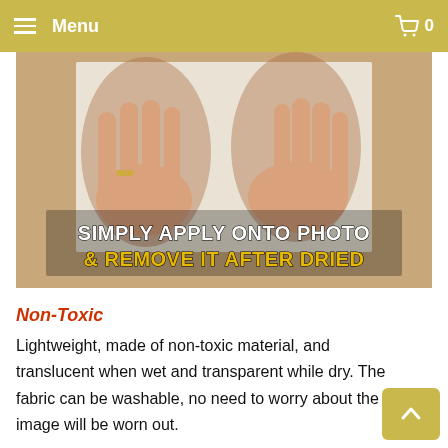Menu  0
[Figure (photo): Two hands pressing down on a translucent sheet of fabric over a photo, with text overlay: 'SIMPLY APPLY ONTO PHOTO & REMOVE IT AFTER DRIED']
Non-Toxic
Lightweight, made of non-toxic material, and translucent when wet and transparent while dry. The fabric can be washable, no need to worry about the image will be worn out.